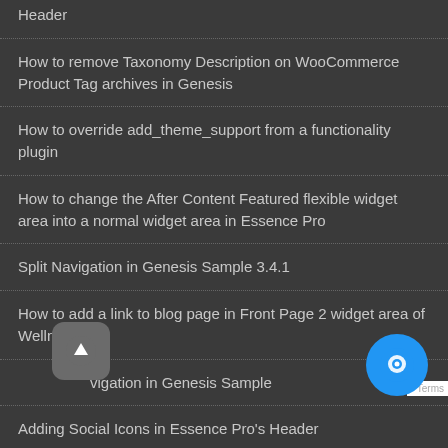Header
How to remove Taxonomy Description on WooCommerce Product Tag archives in Genesis
How to override add_theme_support from a functionality plugin
How to change the After Content Featured flexible widget area into a normal widget area in Essence Pro
Split Navigation in Genesis Sample 3.4.1
How to add a link to blog page in Front Page 2 widget area of Wellness Pro
Split Navigation in Genesis Sample
Adding Social Icons in Essence Pro's Header